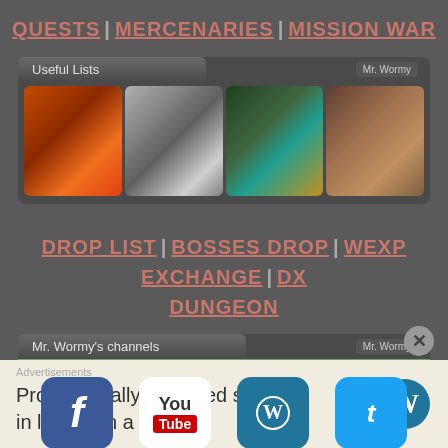QUESTS | MERCENARIES | MISSION WAR
Useful Lists
[Figure (photo): Strip of four monster/creature images from a game: fire creature, white winged creature, green/gold armored creature, brown beast]
DROP LIST | BOSSES DROP | WEXP EXCHANGE | DX DUNGEON
Mr. Wormy's channels
[Figure (screenshot): Channels banner with social media icons: Facebook, YouTube, WordPress, Twitter over a fantasy landscape background]
Advertisements
Professionally designed sites in less than a week